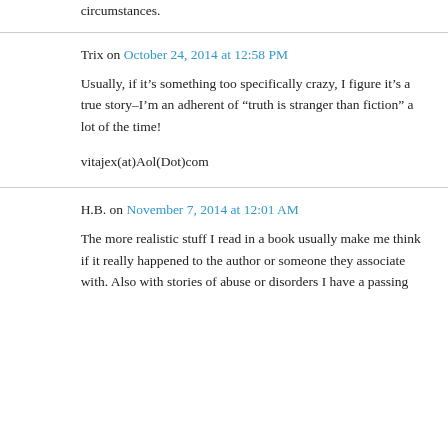circumstances.
Trix on October 24, 2014 at 12:58 PM
Usually, if it’s something too specifically crazy, I figure it’s a true story–I’m an adherent of “truth is stranger than fiction” a lot of the time!
vitajex(at)Aol(Dot)com
H.B. on November 7, 2014 at 12:01 AM
The more realistic stuff I read in a book usually make me think if it really happened to the author or someone they associate with. Also with stories of abuse or disorders I have a passing